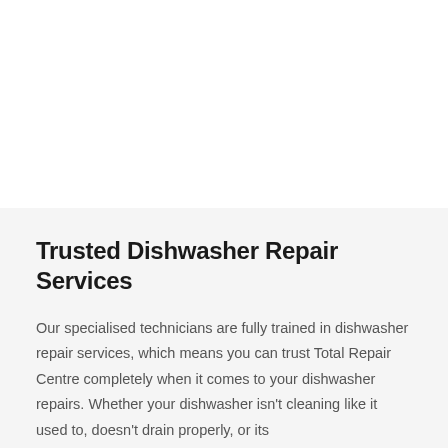Trusted Dishwasher Repair Services
Our specialised technicians are fully trained in dishwasher repair services, which means you can trust Total Repair Centre completely when it comes to your dishwasher repairs. Whether your dishwasher isn't cleaning like it used to, doesn't drain properly, or its